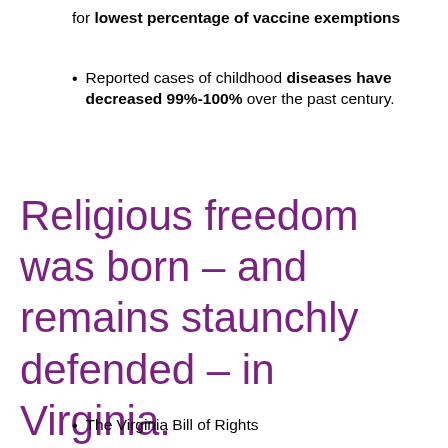for lowest percentage of vaccine exemptions
Reported cases of childhood diseases have decreased 99%-100% over the past century.
Religious freedom was born – and remains staunchly defended – in Virginia.
The Virginia Bill of Rights